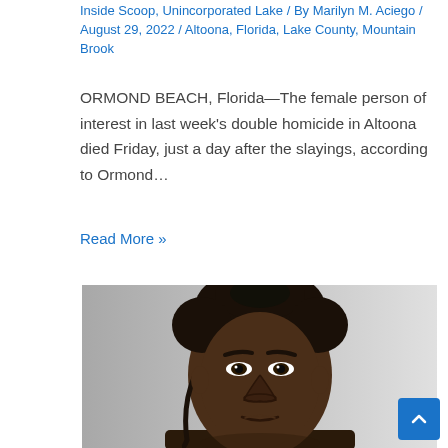Inside Scoop, Unincorporated Lake / By Marilyn M. Aciego / August 29, 2022 / Altoona, Florida, Lake County, Mountain Brook
ORMOND BEACH, Florida—The female person of interest in last week's double homicide in Altoona died Friday, just a day after the slayings, according to Ormond…
Read More »
[Figure (photo): Mugshot-style close-up photograph of a young Black man with short dreadlocks, dark eyes, looking directly at camera, against a grey-to-white gradient background.]